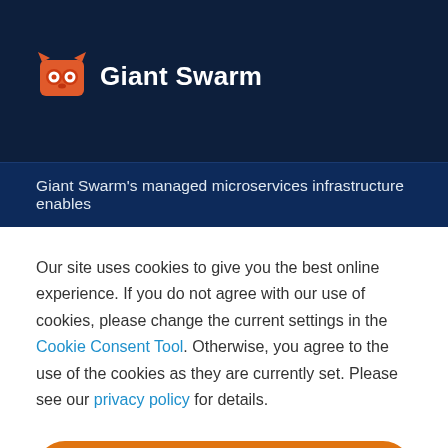[Figure (logo): Giant Swarm logo: orange fox/robot face icon with white eyes, next to bold white text 'Giant Swarm' on dark navy background]
Giant Swarm's managed microservices infrastructure enables
Our site uses cookies to give you the best online experience. If you do not agree with our use of cookies, please change the current settings in the Cookie Consent Tool. Otherwise, you agree to the use of the cookies as they are currently set. Please see our privacy policy for details.
Accept all
Decline all